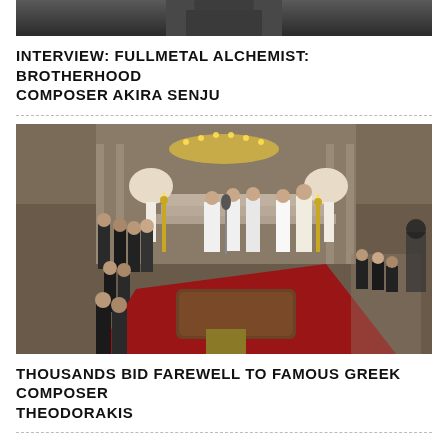[Figure (photo): Top partial image of an anime or illustrated character, cropped at top of page]
INTERVIEW: FULLMETAL ALCHEMIST: BROTHERHOOD COMPOSER AKIRA SENJU
[Figure (photo): Church funeral service for Greek composer Theodorakis, showing clergy in white robes, mourners in dark clothing, and a coffin on a red carpet inside an ornate Orthodox church with candles and flower arrangements]
THOUSANDS BID FAREWELL TO FAMOUS GREEK COMPOSER THEODORAKIS